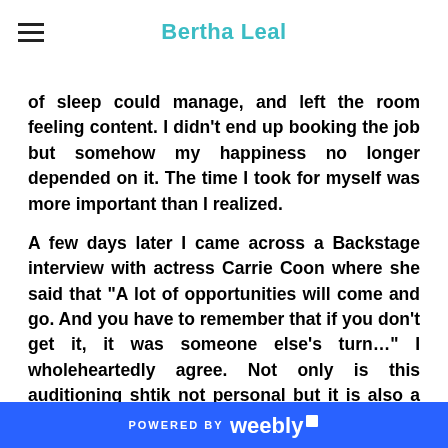Bertha Leal
of sleep could manage, and left the room feeling content. I didn't end up booking the job but somehow my happiness no longer depended on it. The time I took for myself was more important than I realized.
A few days later I came across a Backstage interview with actress Carrie Coon where she said that "A lot of opportunities will come and go. And you have to remember that if you don't get it, it was someone else's turn..." I wholeheartedly agree. Not only is this auditioning shtik not personal but it is also a matter of timing. From what I've gathered, during my short
POWERED BY weebly